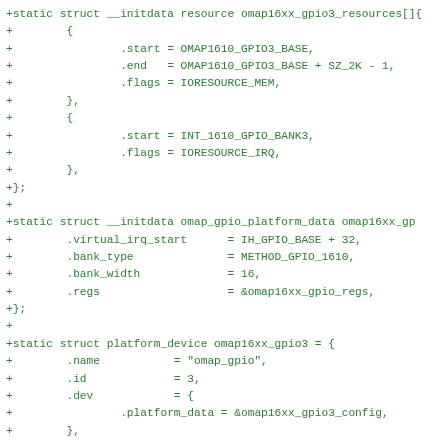+static struct __initdata resource omap16xx_gpio3_resources[]{
+        {
+                .start = OMAP1610_GPIO3_BASE,
+                .end   = OMAP1610_GPIO3_BASE + SZ_2K - 1,
+                .flags = IORESOURCE_MEM,
+        },
+        {
+                .start = INT_1610_GPIO_BANK3,
+                .flags = IORESOURCE_IRQ,
+        },
+};
+
+static struct __initdata omap_gpio_platform_data omap16xx_gp
+        .virtual_irq_start      = IH_GPIO_BASE + 32,
+        .bank_type              = METHOD_GPIO_1610,
+        .bank_width             = 16,
+        .regs                   = &omap16xx_gpio_regs,
+};
+
+static struct platform_device omap16xx_gpio3 = {
+        .name           = "omap_gpio",
+        .id             = 3,
+        .dev            = {
+                .platform_data = &omap16xx_gpio3_config,
+        },